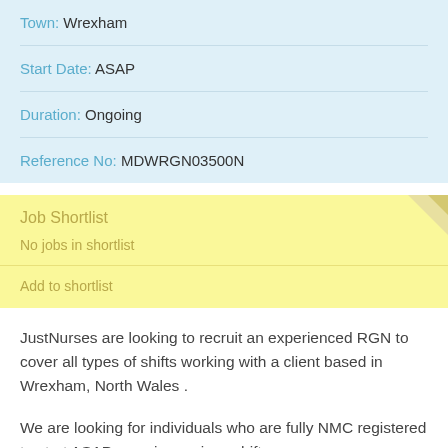Town: Wrexham
Start Date: ASAP
Duration: Ongoing
Reference No: MDWRGN03500N
Job Shortlist
No jobs in shortlist
Add to shortlist
JustNurses are looking to recruit an experienced RGN to cover all types of shifts working with a client based in Wrexham, North Wales .
We are looking for individuals who are fully NMC registered to start ASAP covering various shifts